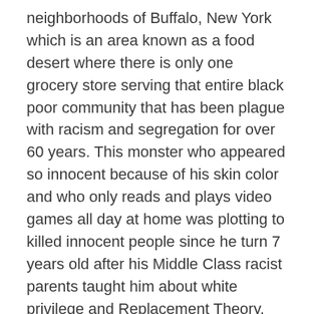neighborhoods of Buffalo, New York which is an area known as a food desert where there is only one grocery store serving that entire black poor community that has been plague with racism and segregation for over 60 years. This monster who appeared so innocent because of his skin color and who only reads and plays video games all day at home was plotting to killed innocent people since he turn 7 years old after his Middle Class racist parents taught him about white privilege and Replacement Theory.
The shooting was livestream on Twitch which is a platform use by millions of racist white teenagers and their supportive parents to spread hate, racism, segregation, Great replacement Theory, violence towards blacks, Jews, LGBT, Middle eastern and against Native Americans. On the